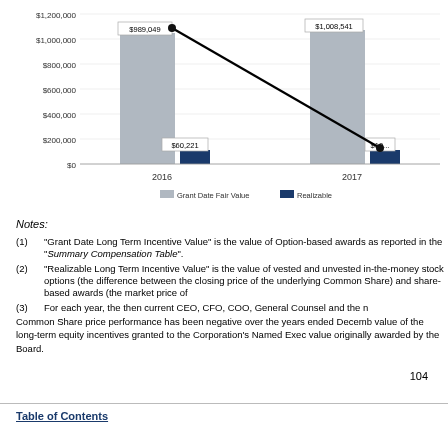[Figure (grouped-bar-chart): Grant Date Fair Value vs Realizable Value]
Grant Date Fair Value  Realizable
Notes:
(1)  "Grant Date Long Term Incentive Value" is the value of Option-based awards Table".
(2)  "Realizable Long Term Incentive Value" is the value of vested and unvested the underlying Common Share) and share-based awards (the market price of
(3)  For each year, the then current CEO, CFO, COO, General Counsel and the n
Common Share price performance has been negative over the years ended Decemb value of the long-term equity incentives granted to the Corporation's Named Exec value originally awarded by the Board.
104
Table of Contents